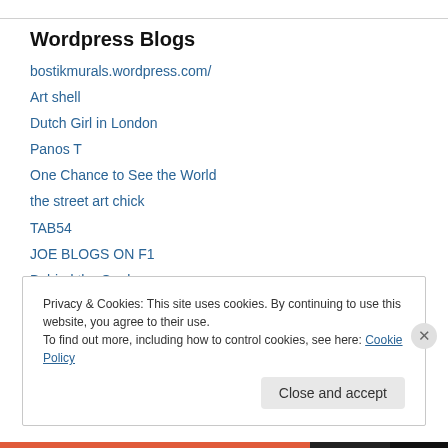Wordpress Blogs
bostikmurals.wordpress.com/
Art shell
Dutch Girl in London
Panos T
One Chance to See the World
the street art chick
TAB54
JOE BLOGS ON F1
Behind the Goal
Latest news for Cynon
Privacy & Cookies: This site uses cookies. By continuing to use this website, you agree to their use.
To find out more, including how to control cookies, see here: Cookie Policy